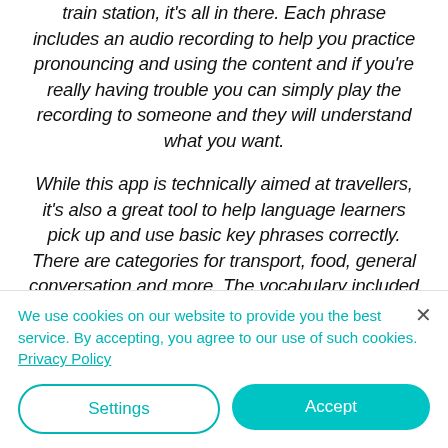train station, it's all in there. Each phrase includes an audio recording to help you practice pronouncing and using the content and if you're really having trouble you can simply play the recording to someone and they will understand what you want.

While this app is technically aimed at travellers, it's also a great tool to help language learners pick up and use basic key phrases correctly. There are categories for transport, food, general conversation and more. The vocabulary included here really is the
We use cookies on our website to provide you the best service. By accepting, you agree to our use of such cookies. Privacy Policy